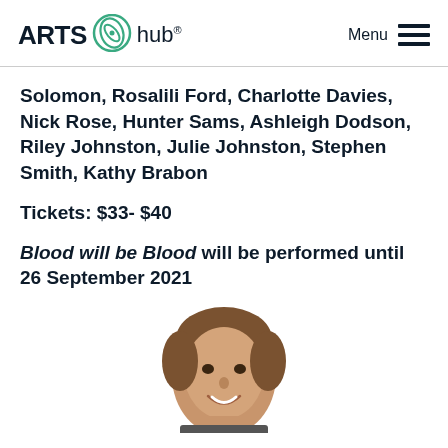ARTS hub® Menu
Solomon, Rosalili Ford, Charlotte Davies, Nick Rose, Hunter Sams, Ashleigh Dodson, Riley Johnston, Julie Johnston, Stephen Smith, Kathy Brabon
Tickets: $33- $40
Blood will be Blood will be performed until 26 September 2021
[Figure (photo): Portrait photo of a smiling man with medium-length hair, cropped at chest level, shown from mid-torso up.]